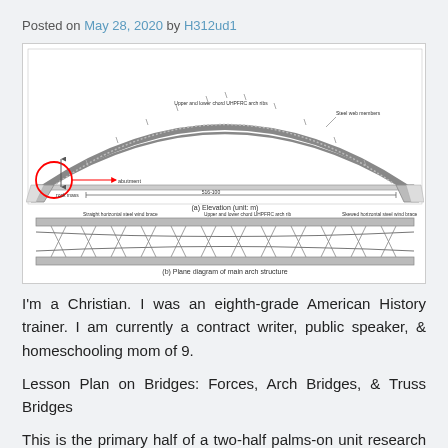Posted on May 28, 2020 by H312ud1
[Figure (engineering-diagram): Engineering diagram of an arch bridge showing two views: (a) Elevation (unit: m) with labeled parts including upper and lower chord UHPFRC arch ribs, steel web members, abutment, and rock mass with a red circle highlighting the left abutment detail; (b) Plane diagram of main arch structure showing straight horizontal steel wind brace, upper and lower chord UHPFRC arch rib, and skewed horizontal steel wind brace.]
I'm a Christian. I was an eighth-grade American History trainer. I am currently a contract writer, public speaker, & homeschooling mom of 9.
Lesson Plan on Bridges: Forces, Arch Bridges, & Truss Bridges
This is the primary half of a two-half palms-on unit research on bridges. Activities embrace building